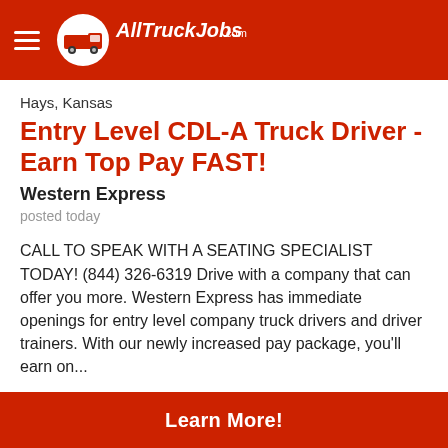AllTruckJobs.com
Hays, Kansas
Entry Level CDL-A Truck Driver - Earn Top Pay FAST!
Western Express
posted today
CALL TO SPEAK WITH A SEATING SPECIALIST TODAY! (844) 326-6319 Drive with a company that can offer you more. Western Express has immediate openings for entry level company truck drivers and driver trainers. With our newly increased pay package, you'll earn on...
[Figure (logo): Western Express company logo in black text with serif font]
Learn More!